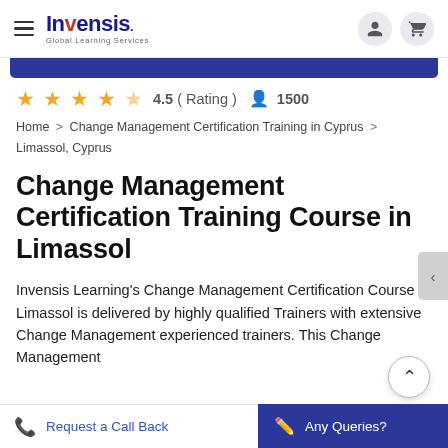Invensis Global Learning Services
4.5 ( Rating )   1500
Home > Change Management Certification Training in Cyprus > Limassol, Cyprus
Change Management Certification Training Course in Limassol
Invensis Learning's Change Management Certification Course in Limassol is delivered by highly qualified Trainers with extensive Change Management experienced trainers. This Change Management
Request a Call Back
Any Queries?